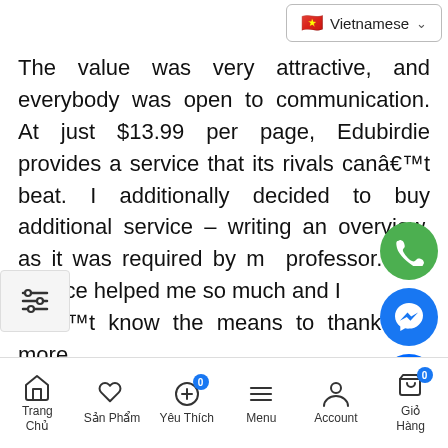[Figure (screenshot): Vietnamese language selector dropdown button in top right corner with Vietnamese flag emoji]
The value was very attractive, and everybody was open to communication. At just $13.99 per page, Edubirdie provides a service that its rivals can't beat. I additionally decided to buy additional service – writing an overview, as it was required by my professor. The service helped me so much and I don't know the means to thank you more.
[Figure (screenshot): Floating action buttons: green phone icon, blue Messenger icon, and blue Zalo icon on right side]
[Figure (screenshot): Settings/filter icon on left side]
What is the secret of our above-average consumer satisfaction rate? We at all times assign the writer with the most related experience on your order. It means when you want someone to write down a
Trang Chủ  Sản Phẩm  Yêu Thích  Menu  Account  Giỏ Hàng